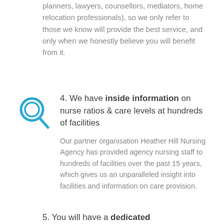planners, lawyers, counsellors, mediators, home relocation professionals), so we only refer to those we know will provide the best service, and only when we honestly believe you will benefit from it.
[Figure (illustration): Blue magnifying glass icon]
4. We have inside information on nurse ratios & care levels at hundreds of facilities
Our partner organisation Heather Hill Nursing Agency has provided agency nursing staff to hundreds of facilities over the past 15 years, which gives us an unparalleled insight into facilities and information on care provision.
5. You will have a dedicated